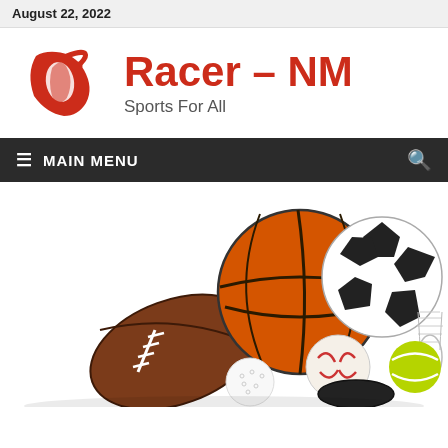August 22, 2022
[Figure (logo): Racer-NM sports logo: red abstract racing/sports flag symbol]
Racer – NM
Sports For All
≡  MAIN MENU
[Figure (photo): Collection of sports balls and equipment including basketball, soccer ball, football, baseball, golf ball, hockey puck, badminton shuttlecock, and tennis ball grouped together on white background]